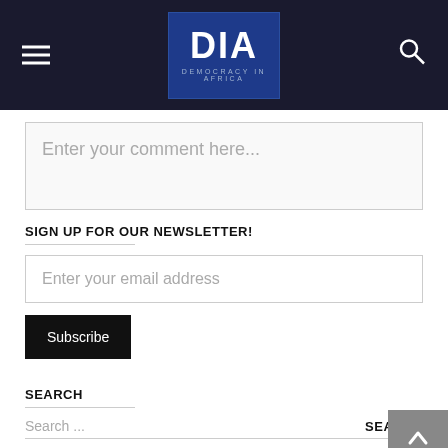[Figure (logo): DIA Democracy in Africa logo on dark blue background with hamburger menu icon on left and search icon on right]
Enter your comment here...
SIGN UP FOR OUR NEWSLETTER!
Enter your email address
Subscribe
SEARCH
Search ...
SEARCH
MOST READ POSTS